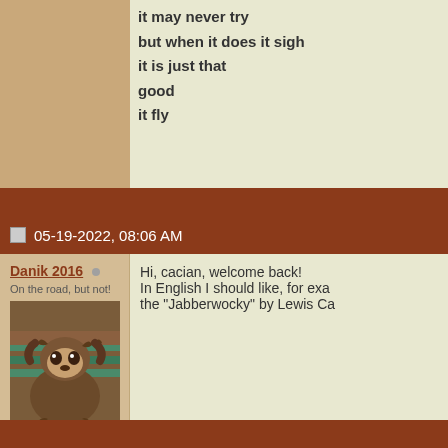it may never try
but when it does it sigh
it is just that
good
it fly
05-19-2022, 08:06 AM
Danik 2016
On the road, but not!
Join Date: Jan 2016
Location: Beyond nowhere
Posts: 8,159
Blog Entries: 1
Hi, cacian, welcome back!
In English I should like, for exa the "Jabberwocky" by Lewis Ca
#Stay home as much as you ca